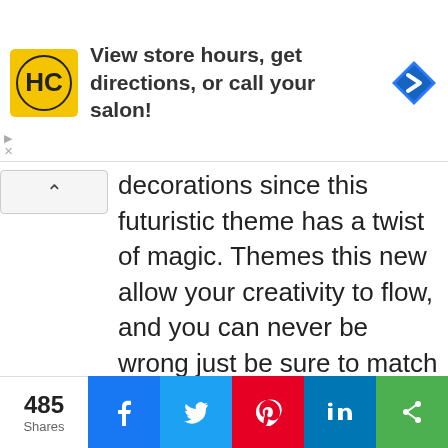[Figure (screenshot): Advertisement banner for HC salon with yellow logo, text 'View store hours, get directions, or call your salon!' and a blue navigation arrow icon]
decorations since this futuristic theme has a twist of magic. Themes this new allow your creativity to flow, and you can never be wrong just be sure to match the color scheme.
[Figure (screenshot): Video overlay popup titled 'Top Videos: - A Summer Cake for Any ...' showing cake images and label 'A SUMMER CAKE FOR ANY PARTY' with mute button]
Related searches
Stuller Lab G... Diamonds
4 Carat Lab C... Diamond Ear...
Lab Grown
485 Shares  [Facebook] [Twitter] [Pinterest] [LinkedIn] [Share]